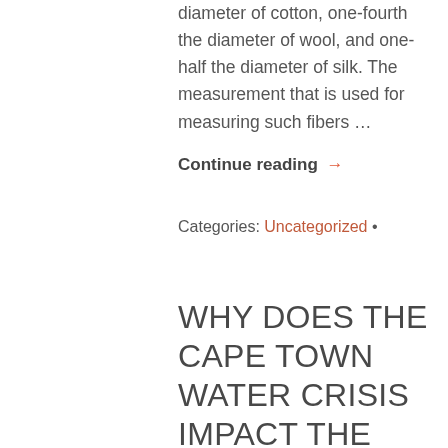diameter of cotton, one-fourth the diameter of wool, and one-half the diameter of silk. The measurement that is used for measuring such fibers …
Continue reading →
Categories: Uncategorized •
WHY DOES THE CAPE TOWN WATER CRISIS IMPACT THE TEXTILE INDUSTRY?